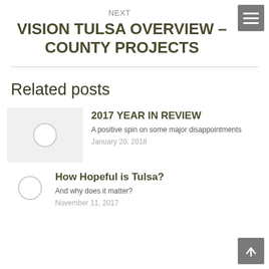NEXT
VISION TULSA OVERVIEW – COUNTY PROJECTS
Related posts
2017 YEAR IN REVIEW
A positive spin on some major disappointments
January 20, 2018
How Hopeful is Tulsa?
And why does it matter?
November 11, 2017